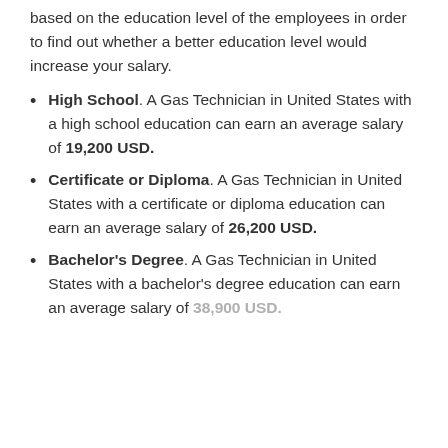based on the education level of the employees in order to find out whether a better education level would increase your salary.
High School. A Gas Technician in United States with a high school education can earn an average salary of 19,200 USD.
Certificate or Diploma. A Gas Technician in United States with a certificate or diploma education can earn an average salary of 26,200 USD.
Bachelor's Degree. A Gas Technician in United States with a bachelor's degree education can earn an average salary of 38,900 USD.